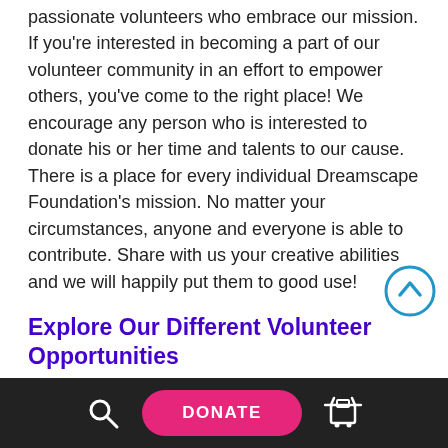passionate volunteers who embrace our mission. If you're interested in becoming a part of our volunteer community in an effort to empower others, you've come to the right place! We encourage any person who is interested to donate his or her time and talents to our cause. There is a place for every individual Dreamscape Foundation's mission. No matter your circumstances, anyone and everyone is able to contribute. Share with us your creative abilities and we will happily put them to good use!
Explore Our Different Volunteer Opportunities
You don't have to be nearby to volunteer. No matter where you live—whether you're local or
DONATE